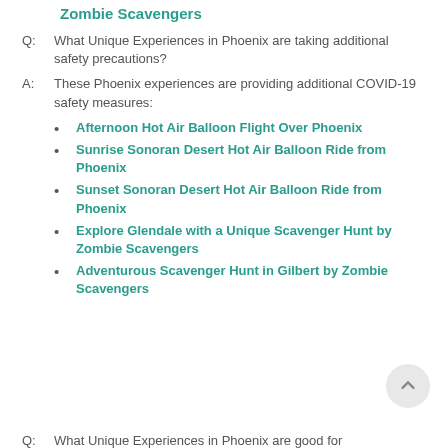Zombie Scavengers
Q: What Unique Experiences in Phoenix are taking additional safety precautions?
A: These Phoenix experiences are providing additional COVID-19 safety measures:
Afternoon Hot Air Balloon Flight Over Phoenix
Sunrise Sonoran Desert Hot Air Balloon Ride from Phoenix
Sunset Sonoran Desert Hot Air Balloon Ride from Phoenix
Explore Glendale with a Unique Scavenger Hunt by Zombie Scavengers
Adventurous Scavenger Hunt in Gilbert by Zombie Scavengers
Q: What Unique Experiences in Phoenix are good for